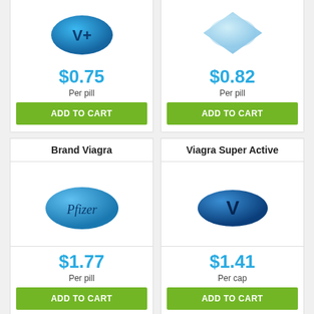[Figure (photo): Blue oval pill with V+ label (top cropped)]
[Figure (photo): Light blue diamond-shaped pill (top cropped)]
$0.75
Per pill
ADD TO CART
$0.82
Per pill
ADD TO CART
Brand Viagra
Viagra Super Active
[Figure (photo): Blue oval Pfizer-branded pill]
[Figure (photo): Dark blue oval pill with V label]
$1.77
Per pill
ADD TO CART
$1.41
Per cap
ADD TO CART